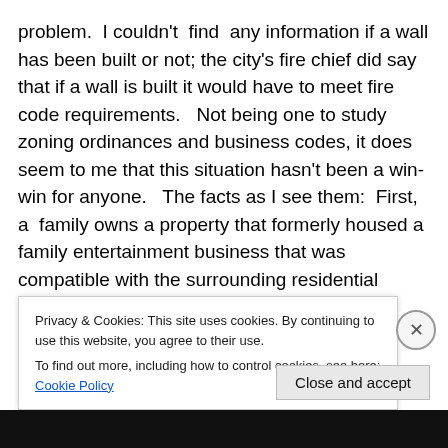problem.  I couldn't  find  any information if a wall has been built or not; the city's fire chief did say that if a wall is built it would have to meet fire code requirements.   Not being one to study zoning ordinances and business codes, it does seem to me that this situation hasn't been a win-win for anyone.   The facts as I see them:  First, a  family owns a property that formerly housed a family entertainment business that was compatible with the surrounding residential neighborhood.  Second, that business closed and the building was empty until a young man had an idea for putting a new business in the
Privacy & Cookies: This site uses cookies. By continuing to use this website, you agree to their use.
To find out more, including how to control cookies, see here: Cookie Policy